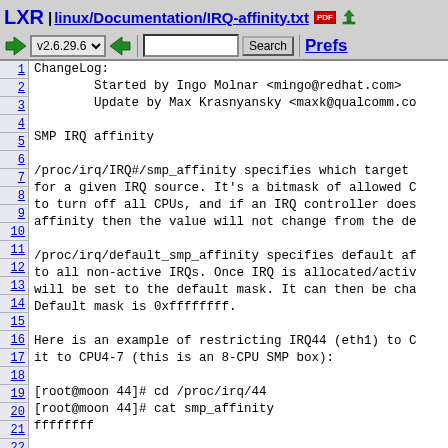LXR | linux/Documentation/IRQ-affinity.txt
v2.6.29.6  Search  Prefs
ChangeLog:
        Started by Ingo Molnar <mingo@redhat.com>
        Update by Max Krasnyansky <maxk@qualcomm.co

SMP IRQ affinity

/proc/irq/IRQ#/smp_affinity specifies which target
for a given IRQ source. It's a bitmask of allowed C
to turn off all CPUs, and if an IRQ controller does
affinity then the value will not change from the de

/proc/irq/default_smp_affinity specifies default af
to all non-active IRQs. Once IRQ is allocated/activ
will be set to the default mask. It can then be cha
Default mask is 0xffffffff.

Here is an example of restricting IRQ44 (eth1) to C
it to CPU4-7 (this is an 8-CPU SMP box):

[root@moon 44]# cd /proc/irq/44
[root@moon 44]# cat smp_affinity
ffffffff

[root@moon 44]# echo 0f > smp_affinity
[root@moon 44]# cat smp_affinity